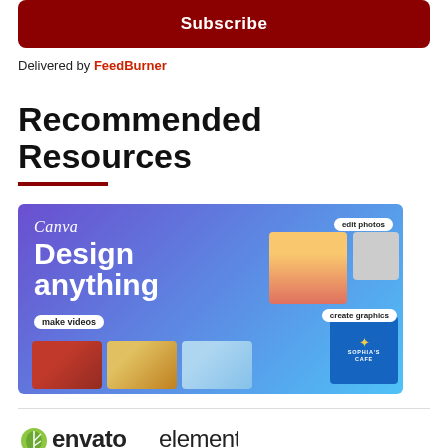Subscribe
Delivered by FeedBurner
Recommended Resources
[Figure (illustration): Canva advertisement banner: 'Design anything' with collage of photos showing editing, graphics creation, and video making features]
[Figure (logo): Envato Elements logo with green leaf icon]